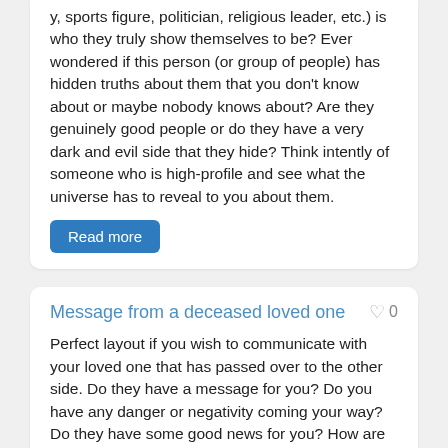y, sports figure, politician, religious leader, etc.) is who they truly show themselves to be? Ever wondered if this person (or group of people) has hidden truths about them that you don't know about or maybe nobody knows about? Are they genuinely good people or do they have a very dark and evil side that they hide? Think intently of someone who is high-profile and see what the universe has to reveal to you about them.
Read more
Message from a deceased loved one
Perfect layout if you wish to communicate with your loved one that has passed over to the other side. Do they have a message for you? Do you have any danger or negativity coming your way? Do they have some good news for you? How are they doing on the other side? In case there are multiple people that you could be connecting with, maybe find out the personality that the Tarot card displays- maybe this will give a clue of who is reaching out to you! Any other messages they have for you?
Read more